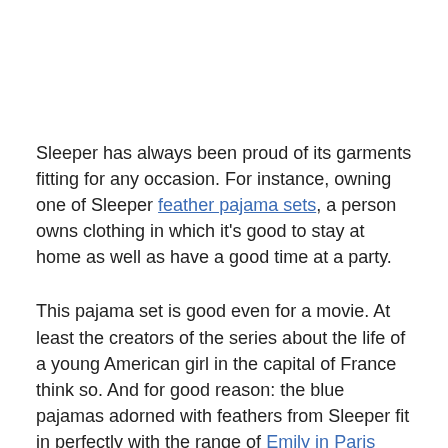Sleeper has always been proud of its garments fitting for any occasion. For instance, owning one of Sleeper feather pajama sets, a person owns clothing in which it's good to stay at home as well as have a good time at a party.
This pajama set is good even for a movie. At least the creators of the series about the life of a young American girl in the capital of France think so. And for good reason: the blue pajamas adorned with feathers from Sleeper fit in perfectly with the range of Emily in Paris outfits.